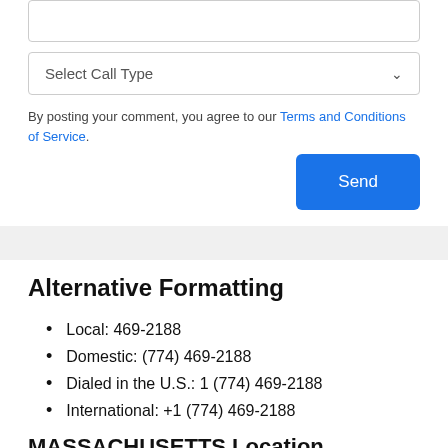Select Call Type
By posting your comment, you agree to our Terms and Conditions of Service.
Send
Alternative Formatting
Local: 469-2188
Domestic: (774) 469-2188
Dialed in the U.S.: 1 (774) 469-2188
International: +1 (774) 469-2188
MASSACHUSETTS Location